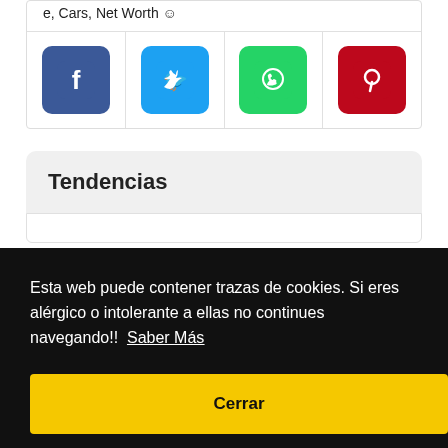e, Cars, Net Worth 😊
[Figure (illustration): Four social media share icons: Facebook (blue), Twitter (light blue), WhatsApp (green), Pinterest (red)]
Tendencias
Esta web puede contener trazas de cookies. Si eres alérgico o intolerante a ellas no continues navegando!!  Saber Más
Cerrar